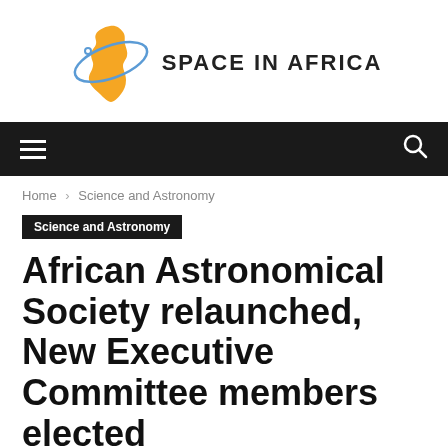[Figure (logo): Space in Africa logo: orange Africa continent silhouette with orbital ring and satellite icon, text 'SPACE IN AFRICA' in bold dark letters]
Navigation bar with hamburger menu and search icon
Home › Science and Astronomy
Science and Astronomy
African Astronomical Society relaunched, New Executive Committee members elected
By Space in Africa - March 27, 2019